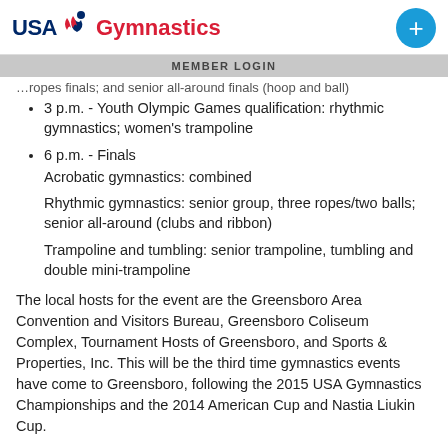USA Gymnastics — MEMBER LOGIN
3 p.m. - Youth Olympic Games qualification: rhythmic gymnastics; women's trampoline
6 p.m. - Finals
Acrobatic gymnastics: combined
Rhythmic gymnastics: senior group, three ropes/two balls; senior all-around (clubs and ribbon)
Trampoline and tumbling: senior trampoline, tumbling and double mini-trampoline
The local hosts for the event are the Greensboro Area Convention and Visitors Bureau, Greensboro Coliseum Complex, Tournament Hosts of Greensboro, and Sports & Properties, Inc. This will be the third time gymnastics events have come to Greensboro, following the 2015 USA Gymnastics Championships and the 2014 American Cup and Nastia Liukin Cup.
The USA Gymnastics Championships was first held in 2014 at the KFC Yum! Center and the Kentucky International...